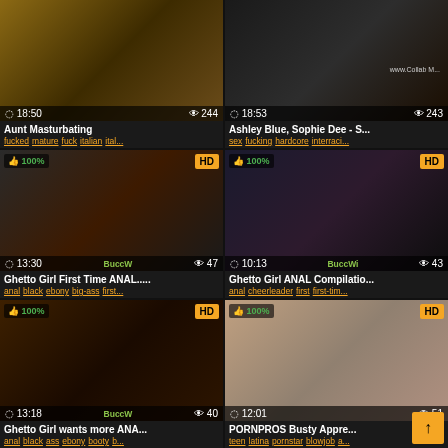[Figure (screenshot): Video thumbnail grid showing 6 adult video thumbnails with titles and tags]
Aunt Masturbating
fucked mature fuck italian ital...
Ashley Blue, Sophie Dee - S...
sex fucking hardcore interraci...
Ghetto Girl First Time ANAL.....
anal black ebony big-ass first...
Ghetto Girl ANAL Compilatio...
anal cheerleader first first-tim...
Ghetto Girl wants more ANA...
anal black ass ebony booty b...
PORNPROS Busty Appre...
teen latina pornstar blowjob a...